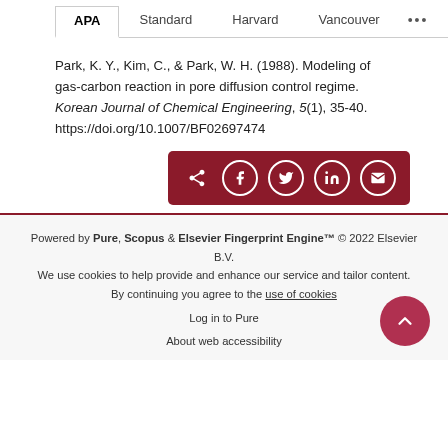APA | Standard | Harvard | Vancouver | ...
Park, K. Y., Kim, C., & Park, W. H. (1988). Modeling of gas-carbon reaction in pore diffusion control regime. Korean Journal of Chemical Engineering, 5(1), 35-40. https://doi.org/10.1007/BF02697474
[Figure (other): Dark red share bar with social media icons: share, Facebook, Twitter, LinkedIn, email]
Powered by Pure, Scopus & Elsevier Fingerprint Engine™ © 2022 Elsevier B.V.
We use cookies to help provide and enhance our service and tailor content. By continuing you agree to the use of cookies
Log in to Pure
About web accessibility